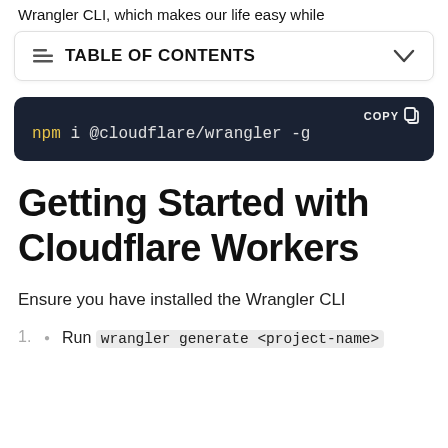Wrangler CLI, which makes our life easy while
TABLE OF CONTENTS
[Figure (screenshot): Dark code block showing: npm i @cloudflare/wrangler -g with a COPY button in the top right]
Getting Started with Cloudflare Workers
Ensure you have installed the Wrangler CLI
Run wrangler generate <project-name>